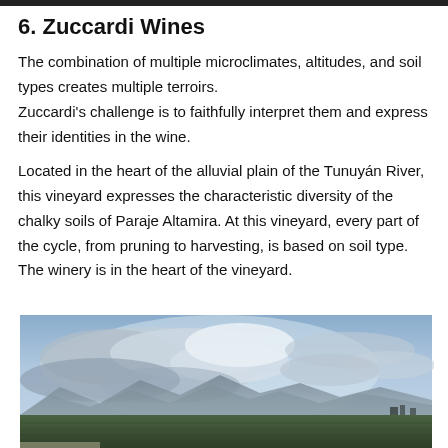6. Zuccardi Wines
The combination of multiple microclimates, altitudes, and soil types creates multiple terroirs.
Zuccardi’s challenge is to faithfully interpret them and express their identities in the wine.
Located in the heart of the alluvial plain of the Tunuyán River, this vineyard expresses the characteristic diversity of the chalky soils of Paraje Altamira. At this vineyard, every part of the cycle, from pruning to harvesting, is based on soil type. The winery is in the heart of the vineyard.
[Figure (photo): Wide landscape photo showing an expansive sky with dramatic clouds, mountains in the background, and a flat vineyard plain below under moody overcast lighting.]